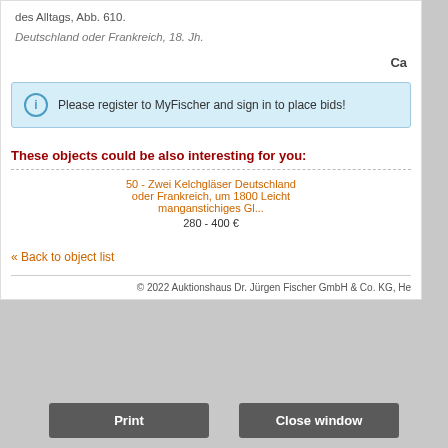des Alltags, Abb. 610.
Deutschland oder Frankreich, 18. Jh.
Ca
Please register to MyFischer and sign in to place bids!
These objects could be also interesting for you:
50 - Zwei Kelchgläser Deutschland oder Frankreich, um 1800 Leicht manganstichiges Gl...
280 - 400 €
« Back to object list
© 2022 Auktionshaus Dr. Jürgen Fischer GmbH & Co. KG, He
Print
Close window